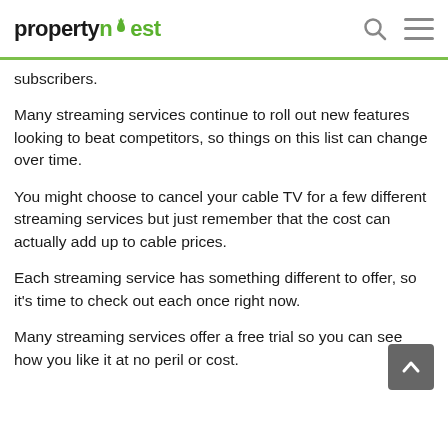propertynest
subscribers.
Many streaming services continue to roll out new features looking to beat competitors, so things on this list can change over time.
You might choose to cancel your cable TV for a few different streaming services but just remember that the cost can actually add up to cable prices.
Each streaming service has something different to offer, so it's time to check out each once right now.
Many streaming services offer a free trial so you can see how you like it at no peril or cost.